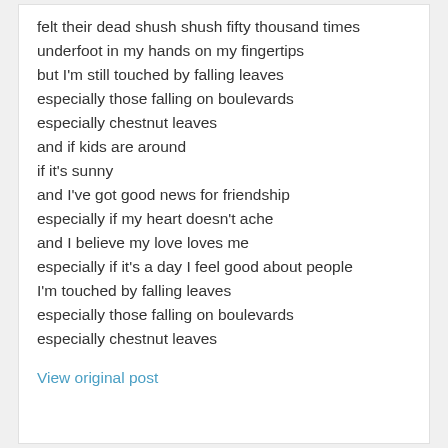felt their dead shush shush fifty thousand times
underfoot in my hands on my fingertips
but I'm still touched by falling leaves
especially those falling on boulevards
especially chestnut leaves
and if kids are around
if it's sunny
and I've got good news for friendship
especially if my heart doesn't ache
and I believe my love loves me
especially if it's a day I feel good about people
I'm touched by falling leaves
especially those falling on boulevards
especially chestnut leaves
View original post